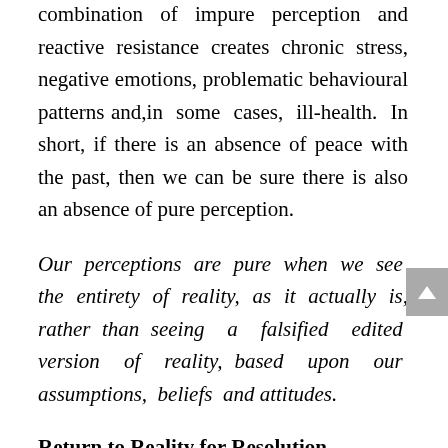combination of impure perception and reactive resistance creates chronic stress, negative emotions, problematic behavioural patterns and,in some cases, ill-health. In short, if there is an absence of peace with the past, then we can be sure there is also an absence of pure perception.
Our perceptions are pure when we see the entirety of reality, as it actually is, rather than seeing a falsified edited version of reality, based upon our assumptions, beliefs and attitudes.
Return to Reality for Resolution